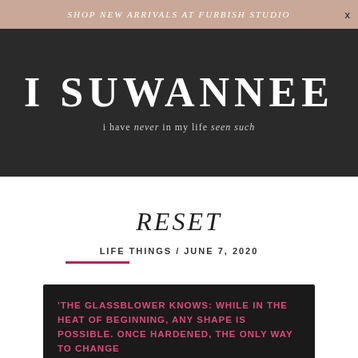SHOP NEW ARRIVALS AT FURBISH STUDIO
I SUWANNEE
i have never in my life seen such
RESET
LIFE THINGS / JUNE 7, 2020
[Figure (photo): Black background image with pink hand-lettered text reading: 'THE GLASSBLOWER KNOWS: WHILE IN THE HEAT OF BEGINNING, ANY SHAPE IS POSSIBLE. ONCE HARDENED, THE ONLY WAY TO CHANGE]